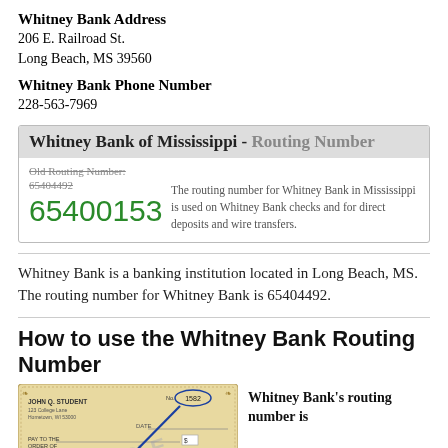Whitney Bank Address
206 E. Railroad St.
Long Beach, MS 39560
Whitney Bank Phone Number
228-563-7969
| Whitney Bank of Mississippi - Routing Number |
| --- |
| Old Routing Number: 65404492 | The routing number for Whitney Bank in Mississippi is used on Whitney Bank checks and for direct deposits and wire transfers. |
| 65400153 |  |
Whitney Bank is a banking institution located in Long Beach, MS. The routing number for Whitney Bank is 65404492.
How to use the Whitney Bank Routing Number
[Figure (illustration): Sample check image showing John Q. Student, 123 College Lane, Hometown, WI 53000, with check number 1582 circled and a blue arrow pointing to it. Fields for date, pay to the order of, dollars, and amount in dollars are visible. A blue diagonal arrow points to the check number. 'SAMPLE' watermark is visible.]
Whitney Bank's routing number is